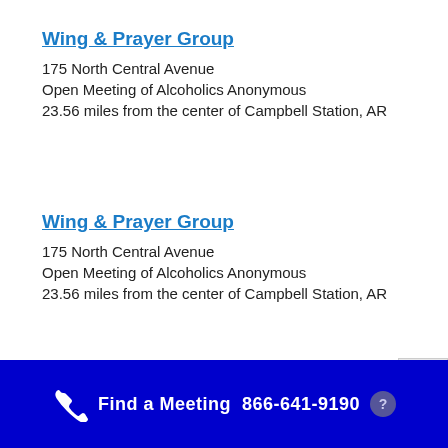Wing & Prayer Group
175 North Central Avenue
Open Meeting of Alcoholics Anonymous
23.56 miles from the center of Campbell Station, AR
Wing & Prayer Group
175 North Central Avenue
Open Meeting of Alcoholics Anonymous
23.56 miles from the center of Campbell Station, AR
Find a Meeting  866-641-9190